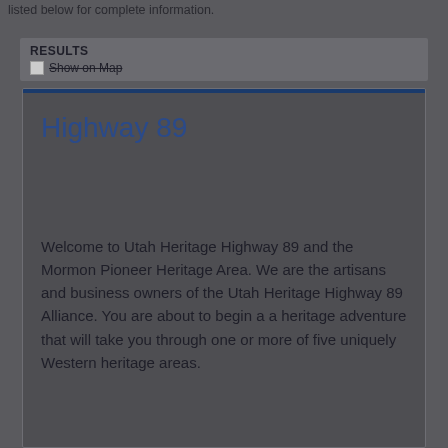listed below for complete information.
RESULTS
Show on Map
Highway 89
Welcome to Utah Heritage Highway 89 and the Mormon Pioneer Heritage Area. We are the artisans and business owners of the Utah Heritage Highway 89 Alliance. You are about to begin a a heritage adventure that will take you through one or more of five uniquely Western heritage areas.